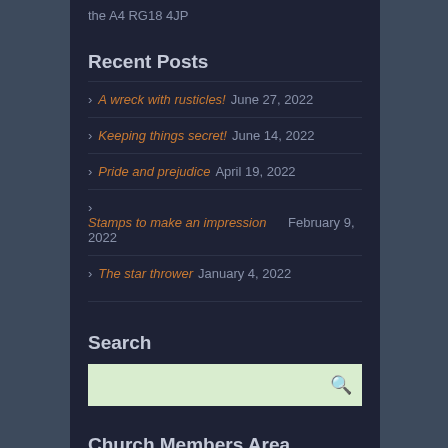the A4 RG18 4JP
Recent Posts
A wreck with rusticles! June 27, 2022
Keeping things secret! June 14, 2022
Pride and prejudice April 19, 2022
Stamps to make an impression February 9, 2022
The star thrower January 4, 2022
Search
Church Members Area